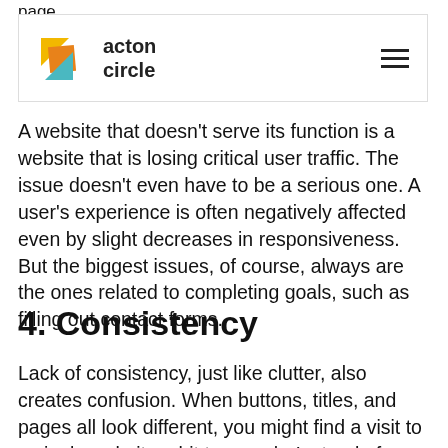page.
[Figure (logo): Acton Circle logo with geometric shapes (yellow, orange, teal) and text 'acton circle']
A website that doesn't serve its function is a website that is losing critical user traffic. The issue doesn't even have to be a serious one. A user's experience is often negatively affected even by slight decreases in responsiveness. But the biggest issues, of course, always are the ones related to completing goals, such as filling out contact forms.
4. Consistency
Lack of consistency, just like clutter, also creates confusion. When buttons, titles, and pages all look different, you might find a visit to a single website a bit too much. Instead of making site visitors want to browse